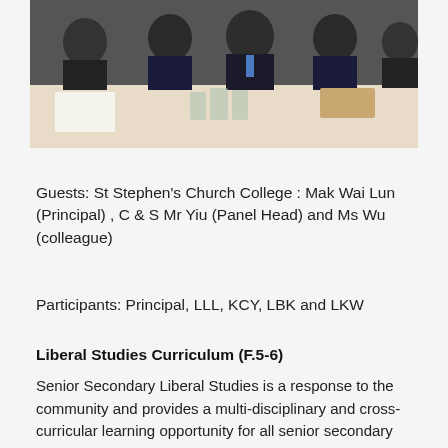[Figure (photo): Group photo of people seated around a conference table with papers and glassware on the table]
Guests: St Stephen’s Church College : Mak Wai Lun (Principal) , C & S Mr Yiu (Panel Head) and Ms Wu (colleague)
Participants: Principal, LLL, KCY, LBK and LKW
Liberal Studies Curriculum (F.5-6)
Senior Secondary Liberal Studies is a response to the community and provides a multi-disciplinary and cross-curricular learning opportunity for all senior secondary students. The curriculum designs helps fostering intellectual ability in general, and develop multiple